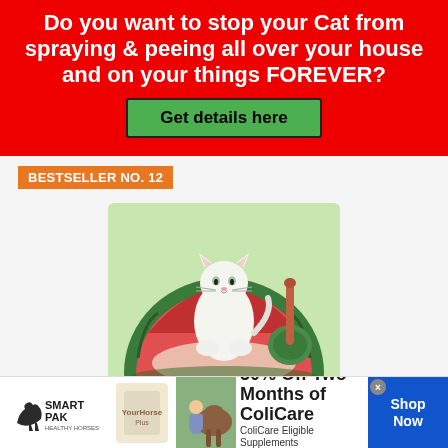Do you want to stop your Cat from spraying & peeing all over your house and on your things FOREVER?
Get details here
BESTSELLER NO. 12
[Figure (photo): A white cat standing inside a watermelon-shaped cat litter box with a green shell and red interior, next to a green scoop tool]
VETRESKA Sifting Cat Litter Box, Covered Cat Litter Box Enclosed Kitty Litter Box
[Figure (infographic): SmartPak advertisement banner showing a horse, supplement product, a woman with a horse, 50% Off Two Months of ColiCare offer with code COLICARE10, and a Shop Now button]